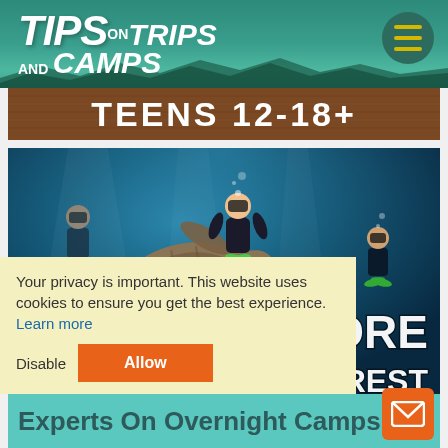TIPS on TRIPS AND CAMPS
[Figure (photo): Banner image with text TEENS 12-18+ on a brown/wood textured background]
[Figure (photo): Underwater photo of scuba divers swimming with a large sea turtle, with text overlay EXPLORE BY INTEREST]
Your privacy is important. This website uses cookies to ensure you get the best experience.
Learn more
Disable
Allow
Experts On Overnight Camps &